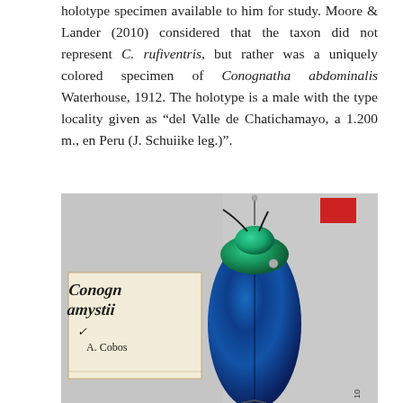holotype specimen available to him for study. Moore & Lander (2010) considered that the taxon did not represent C. rufiventris, but rather was a uniquely colored specimen of Conognatha abdominalis Waterhouse, 1912. The holotype is a male with the type locality given as "del Valle de Chatichamayo, a 1.200 m., en Peru (J. Schuiike leg.)".
[Figure (photo): Photograph of a pinned beetle specimen with iridescent blue-green metallic elytra, with a handwritten collection label showing 'Conognatha amystii' (partially visible) and 'A. Cobos' on a white card in the background.]